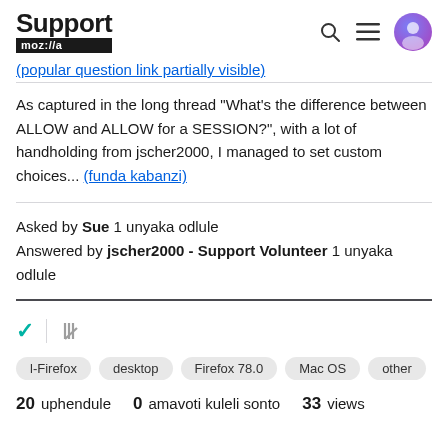Support mozilla
(partial truncated text in blue/link color)
As captured in the long thread "What's the difference between ALLOW and ALLOW for a SESSION?", with a lot of handholding from jscher2000, I managed to set custom choices... (funda kabanzi)
Asked by Sue 1 unyaka odlule
Answered by jscher2000 - Support Volunteer 1 unyaka odlule
20 uphendule   0 amavoti kuleli sonto   33 views